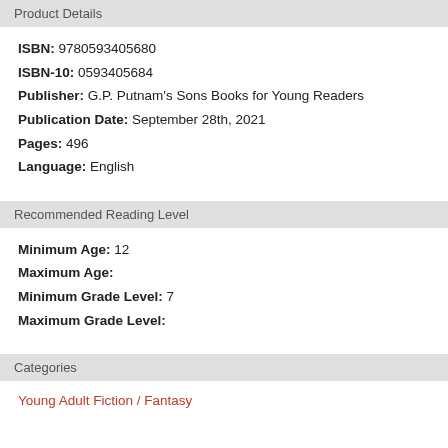Product Details
ISBN: 9780593405680
ISBN-10: 0593405684
Publisher: G.P. Putnam's Sons Books for Young Readers
Publication Date: September 28th, 2021
Pages: 496
Language: English
Recommended Reading Level
Minimum Age: 12
Maximum Age:
Minimum Grade Level: 7
Maximum Grade Level:
Categories
Young Adult Fiction / Fantasy